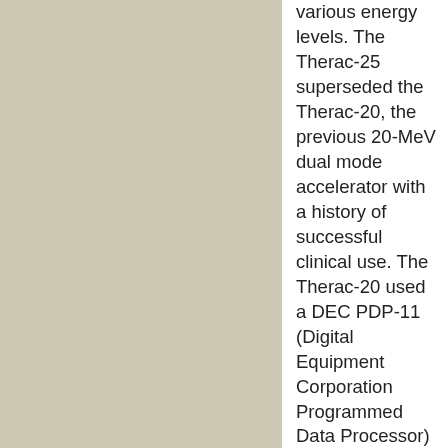various energy levels. The Therac-25 superseded the Therac-20, the previous 20-MeV dual mode accelerator with a history of successful clinical use. The Therac-20 used a DEC PDP-11 (Digital Equipment Corporation Programmed Data Processor) minicomputer for computer control and featured protective circuits for monitoring the electron beam, as well as mechanical interlocks for policing the machine to ensure safe